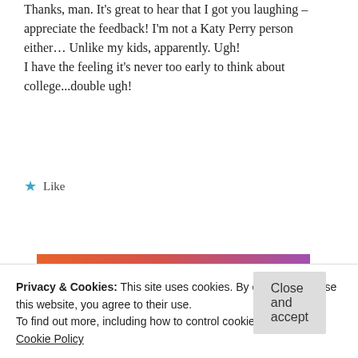Thanks, man. It's great to hear that I got you laughing – appreciate the feedback! I'm not a Katy Perry person either… Unlike my kids, apparently. Ugh!
I have the feeling it's never too early to think about college...double ugh!
★ Like
REPLY
[Figure (illustration): Tumblr logo banner with colorful orange-to-purple gradient background with doodle icons]
Privacy & Cookies: This site uses cookies. By continuing to use this website, you agree to their use.
To find out more, including how to control cookies, see here: Cookie Policy
Close and accept